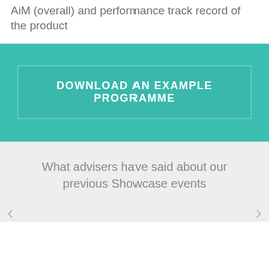AiM (overall) and performance track record of the product
[Figure (other): Teal/turquoise banner with a button reading 'DOWNLOAD AN EXAMPLE PROGRAMME']
What advisers have said about our previous Showcase events